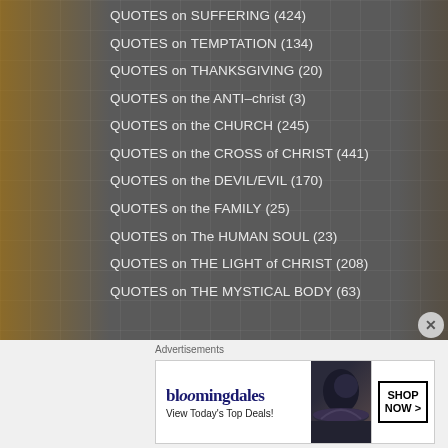QUOTES on SUFFERING (424)
QUOTES on TEMPTATION (134)
QUOTES on THANKSGIVING (20)
QUOTES on the ANTI-christ (3)
QUOTES on the CHURCH (245)
QUOTES on the CROSS of CHRIST (441)
QUOTES on the DEVIL/EVIL (170)
QUOTES on the FAMILY (25)
QUOTES on The HUMAN SOUL (23)
QUOTES on THE LIGHT of CHRIST (208)
QUOTES on THE MYSTICAL BODY (63)
Advertisements
[Figure (other): Bloomingdales advertisement banner with hat image and 'View Today's Top Deals!' text and 'SHOP NOW >' button]